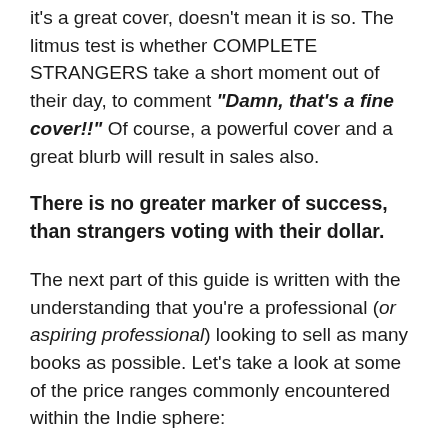it's a great cover, doesn't mean it is so. The litmus test is whether COMPLETE STRANGERS take a short moment out of their day, to comment “Damn, that's a fine cover!!” Of course, a powerful cover and a great blurb will result in sales also.
There is no greater marker of success, than strangers voting with their dollar.
The next part of this guide is written with the understanding that you’re a professional (or aspiring professional) looking to sell as many books as possible. Let’s take a look at some of the price ranges commonly encountered within the Indie sphere:
$0 – $100 USD